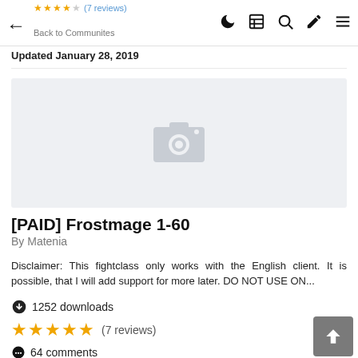← Back | [icons: dark mode, wiki, search, brush, menu] | (7 reviews stars) Back to Communites
Updated January 28, 2019
[Figure (photo): Placeholder image with camera icon on light grey background]
[PAID] Frostmage 1-60
By Matenia
Disclaimer: This fightclass only works with the English client. It is possible, that I will add support for more later. DO NOT USE ON...
⬇ 1252 downloads
★★★★★ (7 reviews)
● 64 comments